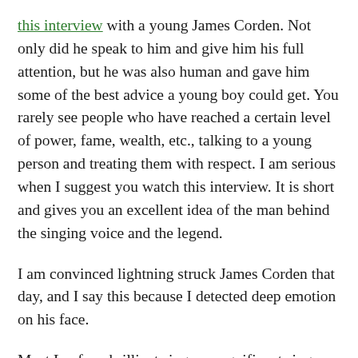this interview with a young James Corden. Not only did he speak to him and give him his full attention, but he was also human and gave him some of the best advice a young boy could get. You rarely see people who have reached a certain level of power, fame, wealth, etc., talking to a young person and treating them with respect. I am serious when I suggest you watch this interview. It is short and gives you an excellent idea of the man behind the singing voice and the legend.
I am convinced lightning struck James Corden that day, and I say this because I detected deep emotion on his face.
Meat Loaf – a brilliant singer, magnificent singer, and great human. Rest in Peace.